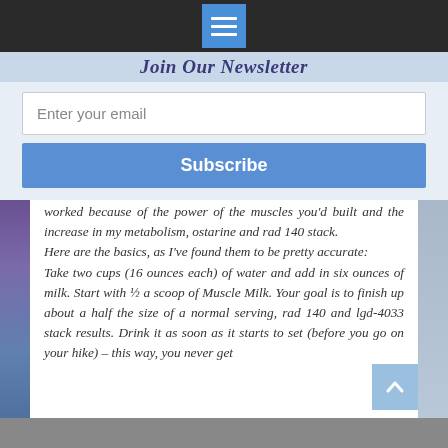[Figure (screenshot): Top navigation bar with dark background and blue hamburger menu icon]
Join Our Newsletter
[Figure (screenshot): Email subscription form with text input field labeled 'Enter your email' and a blue 'Subscribe' button]
worked because of the power of the muscles you'd built and the increase in my metabolism, ostarine and rad 140 stack. Here are the basics, as I've found them to be pretty accurate: Take two cups (16 ounces each) of water and add in six ounces of milk. Start with ½ a scoop of Muscle Milk. Your goal is to finish up about a half the size of a normal serving, rad 140 and lgd-4033 stack results. Drink it as soon as it starts to set (before you go on your hike) – this way, you never get